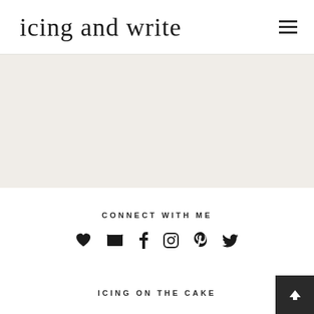icing and write
[Figure (other): Gray placeholder/banner area below the header]
CONNECT WITH ME
[Figure (other): Social media icons row: heart, envelope, Facebook f, Instagram camera, Pinterest p, Twitter bird]
ICING ON THE CAKE